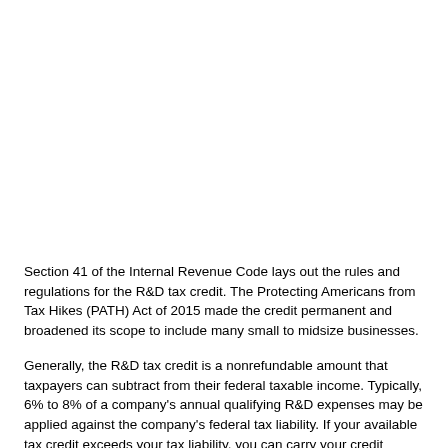Section 41 of the Internal Revenue Code lays out the rules and regulations for the R&D tax credit. The Protecting Americans from Tax Hikes (PATH) Act of 2015 made the credit permanent and broadened its scope to include many small to midsize businesses.
Generally, the R&D tax credit is a nonrefundable amount that taxpayers can subtract from their federal taxable income. Typically, 6% to 8% of a company's annual qualifying R&D expenses may be applied against the company's federal tax liability. If your available tax credit exceeds your tax liability, you can carry your credit forward for up to 20 years. In some instances, the R&D tax credit may be used to offset the